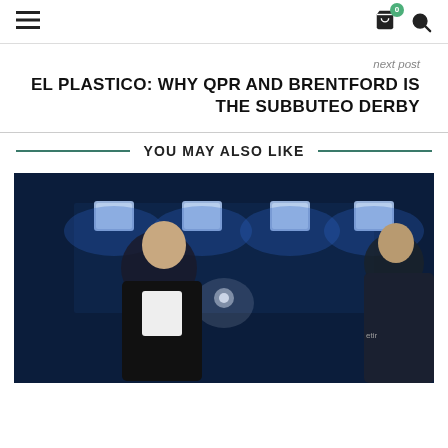≡  [cart icon with badge 0]  [search icon]
next post
EL PLASTICO: WHY QPR AND BRENTFORD IS THE SUBBUTEO DERBY
YOU MAY ALSO LIKE
[Figure (photo): Two men talking in a dark TV studio with blue lighting panels and stage lights above them. One man in a black jacket, the other in a dark sports top.]